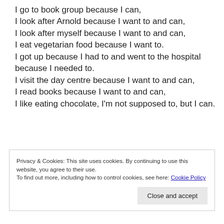I go to book group because I can,
I look after Arnold because I want to and can,
I look after myself because I want to and can,
I eat vegetarian food because I want to.
I got up because I had to and went to the hospital because I needed to.
I visit the day centre because I want to and can,
I read books because I want to and can,
I like eating chocolate, I'm not supposed to, but I can.
Privacy & Cookies: This site uses cookies. By continuing to use this website, you agree to their use.
To find out more, including how to control cookies, see here: Cookie Policy